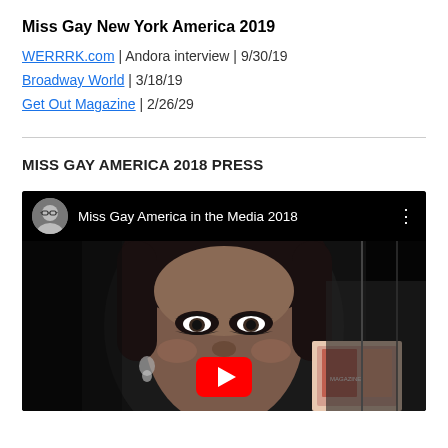Miss Gay New York America 2019
WERRRK.com | Andora interview | 9/30/19
Broadway World | 3/18/19
Get Out Magazine | 2/26/29
MISS GAY AMERICA 2018 PRESS
[Figure (screenshot): YouTube video embed titled 'Miss Gay America in the Media 2018' showing a drag performer holding a magazine, with a red YouTube play button overlay and a user avatar in the top bar.]